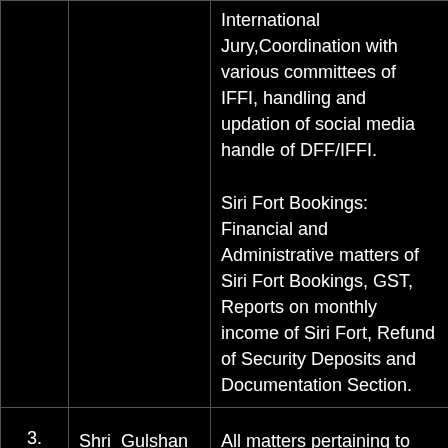|  | Name/Designation | Duties/Responsibilities |
| --- | --- | --- |
|  |  | International Jury,Coordination with various committees of IFFI, handling and updation of social media handle of DFF/IFFI.
Siri Fort Bookings: Financial and Administrative matters of Siri Fort Bookings, GST, Reports on monthly income of Siri Fort, Refund of Security Deposits and Documentation Section. |
| 3. | Shri Gulshan Rai Juneja,

Deputy Director (Accounts) | All matters pertaining to Accounts, Upgradation of Siri Fort, Grant-in-aid, All matters pertaining to maintenance of DFF Office and Siri Fort |